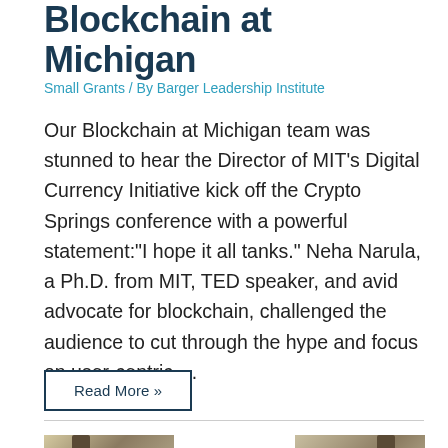Blockchain at Michigan
Small Grants / By Barger Leadership Institute
Our Blockchain at Michigan team was stunned to hear the Director of MIT’s Digital Currency Initiative kick off the Crypto Springs conference with a powerful statement:“I hope it all tanks.” Neha Narula, a Ph.D. from MIT, TED speaker, and avid advocate for blockchain, challenged the audience to cut through the hype and focus on user-centric …
Read More »
[Figure (photo): Partial view of a metal pipe or structural element against a light background]
[Figure (photo): Partial view of a metal pipe or structural element with a curved wire against a light background]